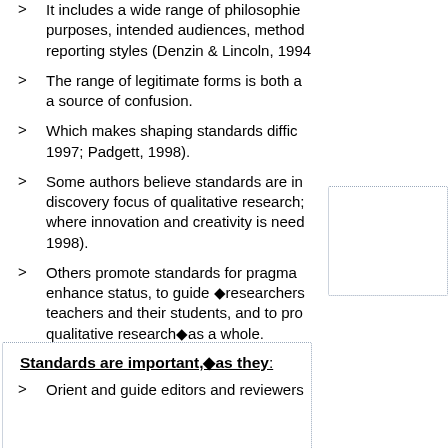It includes a wide range of philosophies, purposes, intended audiences, methods, reporting styles (Denzin & Lincoln, 1994).
The range of legitimate forms is both a strength and a source of confusion.
Which makes shaping standards difficult (Lincoln, 1997; Padgett, 1998).
Some authors believe standards are incompatible with the discovery focus of qualitative research; especially in areas where innovation and creativity is needed (Smith & Deemer, 1998).
Others promote standards for pragmatic reasons: to enhance status, to guide researchers, to orient teachers and their students, and to promote qualitative research as a whole.
Standards are important, as they:
Orient and guide editors and reviewers.